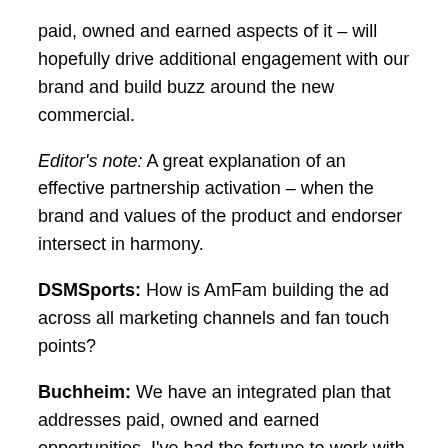paid, owned and earned aspects of it – will hopefully drive additional engagement with our brand and build buzz around the new commercial.
Editor's note: A great explanation of an effective partnership activation – when the brand and values of the product and endorser intersect in harmony.
DSMSports: How is AmFam building the ad across all marketing channels and fan touch points?
Buchheim: We have an integrated plan that addresses paid, owned and earned opportunities. I've had the fortune to work with some amazing colleagues and strategic partners to develop and execute the social media part of this plan. But there are plenty of other moving parts which will ensure a successful release. It began, in essence, Jan. 19, as soon as we learned the outcome of the NFC